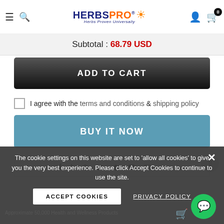HerbsPro - Herbs Proven Universally
Subtotal : 68.79 USD
ADD TO CART
I agree with the terms and conditions & shipping policy
BUY IT NOW
[Figure (screenshot): Social sharing icons row: Facebook, Twitter, Pinterest, Grid, Bookmark, Heart, Email, Plus]
The cookie settings on this website are set to 'allow all cookies' to give you the very best experience. Please click Accept Cookies to continue to use the site.
ACCEPT COOKIES
PRIVACY POLICY
Approximate 50,000 Health and Wellness Products